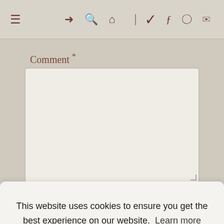≡  ➜ 🔍 ⌂ )) ✓ f ⊙ ✉
Comment *
[Figure (screenshot): Empty comment textarea input field with rounded corners and resize handle]
Name *
This website uses cookies to ensure you get the best experience on our website.  Learn more
Got it!
Website